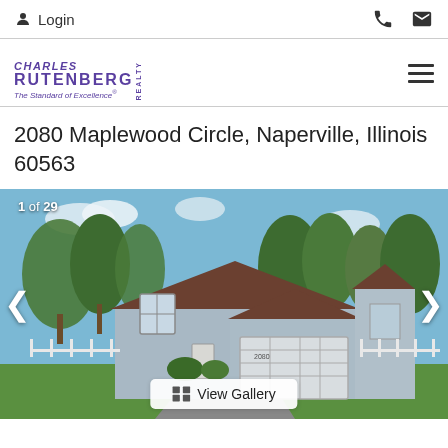Login
[Figure (logo): Charles Rutenberg Realty logo with tagline 'The Standard of Excellence']
2080 Maplewood Circle, Naperville, Illinois 60563
[Figure (photo): Exterior photo of a gray split-level home with brown roof, two-car garage, large trees in background, picket fences on sides, green lawn in front. Counter shows 1 of 29.]